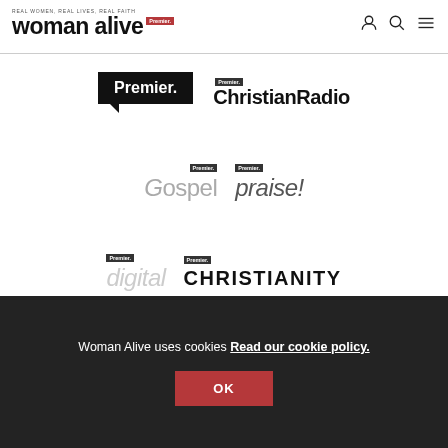REAL WOMEN, REAL LIVES, REAL FAITH | Premier. | woman alive | [user icon] [search icon] [menu icon]
[Figure (logo): Premier. speech bubble logo in black]
[Figure (logo): Premier. ChristianRadio logo in black]
[Figure (logo): Premier. Gospel logo in grey]
[Figure (logo): Premier. praise! logo in grey italic]
[Figure (logo): Premier. digital logo in light grey italic]
[Figure (logo): Premier. CHRISTIANITY logo in black uppercase]
Woman Alive uses cookies Read our cookie policy.
OK